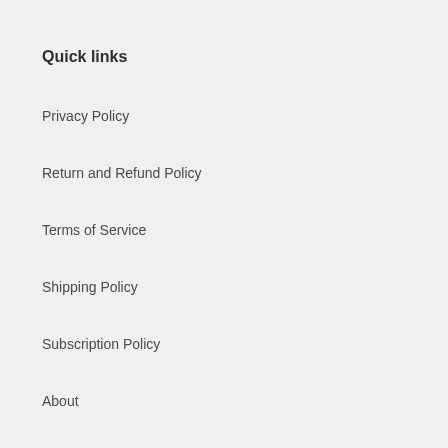Quick links
Privacy Policy
Return and Refund Policy
Terms of Service
Shipping Policy
Subscription Policy
About